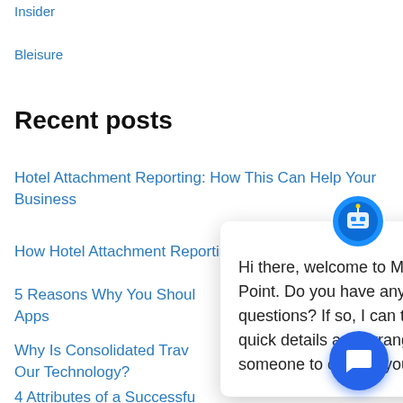Insider
Bleisure
Recent posts
Hotel Attachment Reporting: How This Can Help Your Business
How Hotel Attachment Reporting Can Benefit Your TMC
5 Reasons Why You Should… Apps
Why Is Consolidated Travel… Our Technology?
4 Attributes of a Successfu…
[Figure (other): Chat popup widget from Mantic Point with message: Hi there, welcome to Mantic Point. Do you have any questions? If so, I can take a few quick details and arrange for someone to contact you]
Subscribe here!
Email*